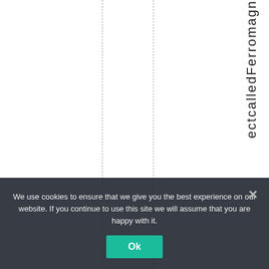ectcalledFerromagn
We use cookies to ensure that we give you the best experience on our website. If you continue to use this site we will assume that you are happy with it.